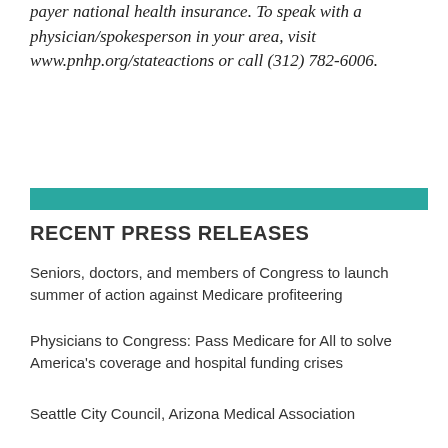payer national health insurance. To speak with a physician/spokesperson in your area, visit www.pnhp.org/stateactions or call (312) 782-6006.
RECENT PRESS RELEASES
Seniors, doctors, and members of Congress to launch summer of action against Medicare profiteering
Physicians to Congress: Pass Medicare for All to solve America's coverage and hospital funding crises
Seattle City Council, Arizona Medical Association